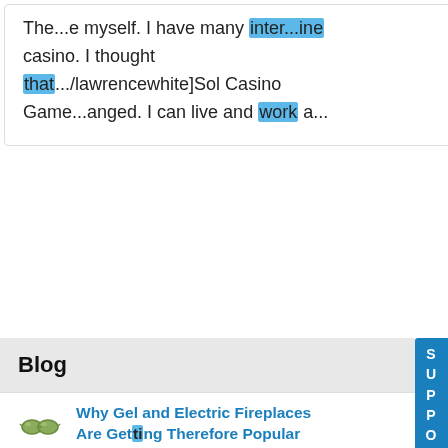The...e myself. I have many inter...ine casino. I thought that.../lawrencewhite]Sol Casino Game...anged. I can live and work a...
Blog
[Figure (illustration): Small circular avatar icon showing sunglasses/spectacles emoji]
Why Gel and Electric Fireplaces Are Getting Therefore Popular
By seomypassion12  2 hours ago
But, you will find cigarette smoking al...desired smoking. The lar...r companies that have fi...tch you smoking in a non...ng alarm is really a pos...e, is determined by what...ould appear that this really is mo...r instance, that qned